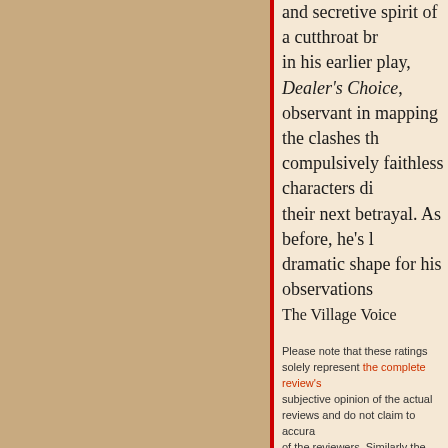and secretive spirit of a cutthroat br... in his earlier play, Dealer's Choice, observant in mapping the clashes th... compulsively faithless characters di... their next betrayal. As before, he's l... dramatic shape for his observations...
The Village Voice
Please note that these ratings solely represent the complete review's subjective opinion of the actual reviews and do not claim to accura... of the reviewers. Similarly the illustrative quotes chosen here are m... subjectively believes represent the tenor and judgment of the revie... (and remind and warn you) that they may, in fact, be entirely unrep... by any other measure.
- Return to top of the page
The complete review's
Only four characters appear in Closer, two w... is a young lost soul, a self-described waif who w... time would-be writer Dan writes obituaries. Ann... is a dermatologist. Closer follows their relations...